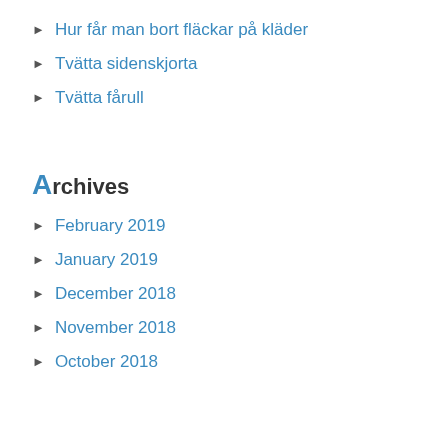Hur får man bort fläckar på kläder
Tvätta sidenskjorta
Tvätta fårull
Archives
February 2019
January 2019
December 2018
November 2018
October 2018